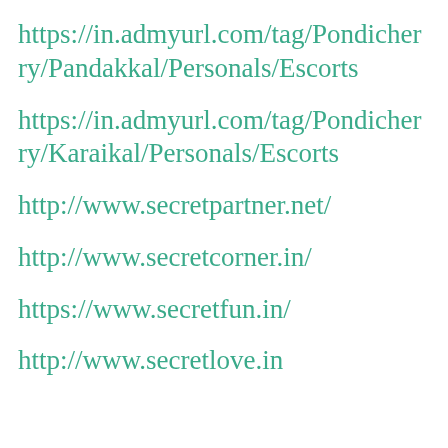https://in.admyurl.com/tag/Pondicherry/Pandakkal/Personals/Escorts
https://in.admyurl.com/tag/Pondicherry/Karaikal/Personals/Escorts
http://www.secretpartner.net/
http://www.secretcorner.in/
https://www.secretfun.in/
http://www.secretlove.in